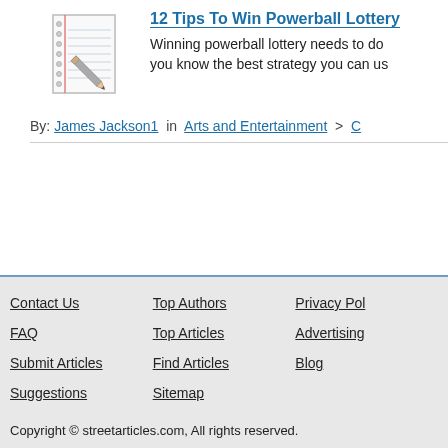[Figure (illustration): Notebook with pencil icon thumbnail for article]
12 Tips To Win Powerball Lottery
Winning powerball lottery needs to do... you know the best strategy you can us...
By: James Jackson1 in Arts and Entertainment > C
Contact Us | FAQ | Submit Articles | Suggestions | Top Authors | Top Articles | Find Articles | Sitemap | Privacy Pol... | Advertising | Blog
Copyright © streetarticles.com, All rights reserved.